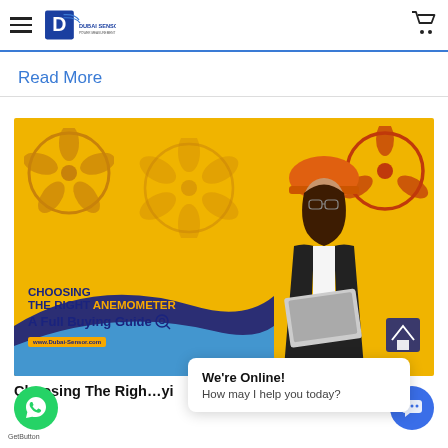Dubai Sensor — navigation header with logo and cart
Read More
[Figure (photo): Promotional banner image for Dubai Sensor showing a female engineer in orange hard hat and business suit holding a laptop, with anemometer devices on yellow background. Text overlay reads: CHOOSING THE RIGHT ANEMOMETER A Full Buying Guide, www.Dubai-Sensor.com]
Choosing The Right Anemometer A Full Buying Guide
We're Online! How may I help you today?